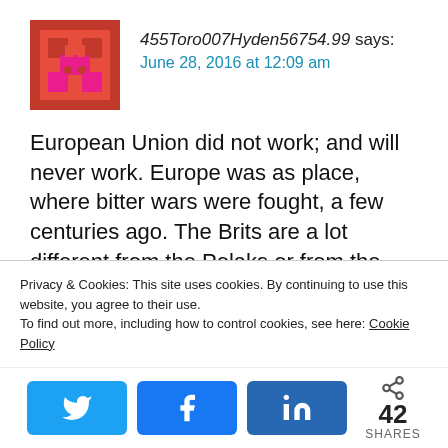455Toro007Hyden56754.99 says:
June 28, 2016 at 12:09 am
European Union did not work; and will never work. Europe was as place, where bitter wars were fought, a few centuries ago. The Brits are a lot different from the Polaks or from the Grunts.
Europe is now inundated by Muslim refugees. These people came from countries
Privacy & Cookies: This site uses cookies. By continuing to use this website, you agree to their use.
To find out more, including how to control cookies, see here: Cookie Policy
42 SHARES